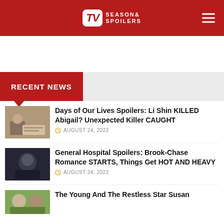TV Season & Spoilers
RECENT NEWS
Days of Our Lives Spoilers: Li Shin KILLED Abigail? Unexpected Killer CAUGHT
AUGUST 24, 2022
General Hospital Spoilers: Brook-Chase Romance STARTS, Things Get HOT AND HEAVY
AUGUST 24, 2022
The Young And The Restless Star Susan